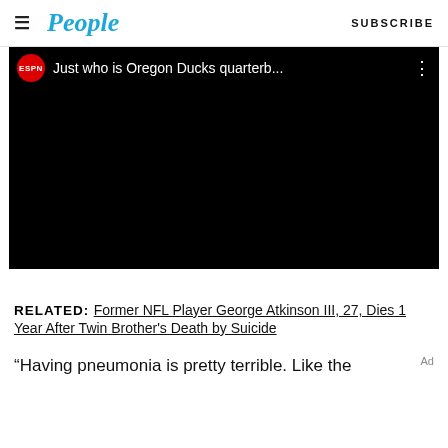People — SUBSCRIBE
[Figure (screenshot): ESPN video embed showing a dark/black video frame with ESPN red circle logo and title text 'Just who is Oregon Ducks quarterb...' in the top bar, with a three-dot menu icon on the right.]
RELATED: Former NFL Player George Atkinson III, 27, Dies 1 Year After Twin Brother's Death by Suicide
“Having pneumonia is pretty terrible. Like the